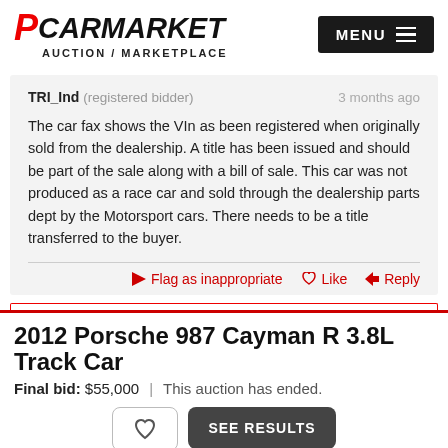PCARMARKET AUCTION / MARKETPLACE
TRI_Ind (registered bidder) — 3 months ago

The car fax shows the VIn as been registered when originally sold from the dealership. A title has been issued and should be part of the sale along with a bill of sale. This car was not produced as a race car and sold through the dealership parts dept by the Motorsport cars. There needs to be a title transferred to the buyer.
Flag as inappropriate  Like  Reply
2012 Porsche 987 Cayman R 3.8L Track Car
Final bid: $55,000  |  This auction has ended.
SEE RESULTS